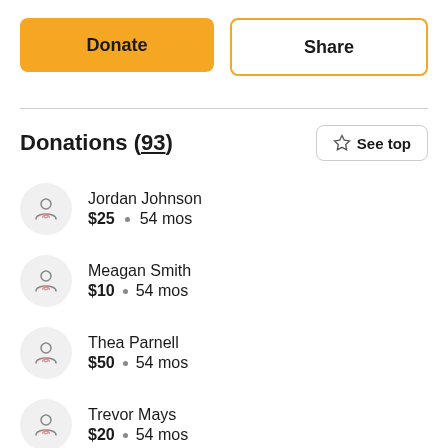Donate
Share
Donations (93)
See top
Jordan Johnson · $25 · 54 mos
Meagan Smith · $10 · 54 mos
Thea Parnell · $50 · 54 mos
Trevor Mays · $20 · 54 mos